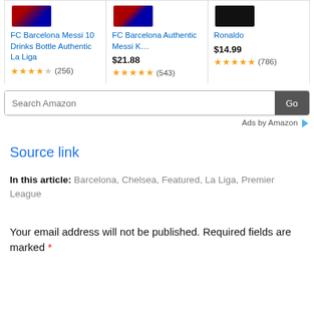[Figure (screenshot): Amazon product listing row with three products: FC Barcelona Messi 10 Drinks Bottle Authentic La Liga (3.5 stars, 256 reviews), FC Barcelona Authentic Messi K... at $21.88 (5 stars, 543 reviews), Ronaldo at $14.99 (4.5 stars, 786 reviews)]
[Figure (screenshot): Search Amazon search bar with Go button and Ads by Amazon label]
Source link
In this article: Barcelona, Chelsea, Featured, La Liga, Premier League
Your email address will not be published. Required fields are marked *